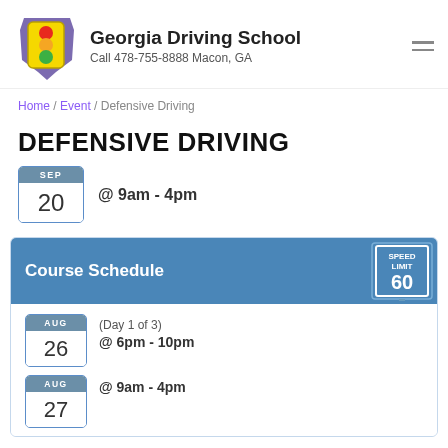[Figure (logo): Georgia Driving School logo with traffic light icon on purple Georgia state shape]
Georgia Driving School
Call 478-755-8888 Macon, GA
Home / Event / Defensive Driving
DEFENSIVE DRIVING
SEP 20 @ 9am - 4pm
Course Schedule
AUG 26 (Day 1 of 3) @ 6pm - 10pm
AUG 27 @ 9am - 4pm